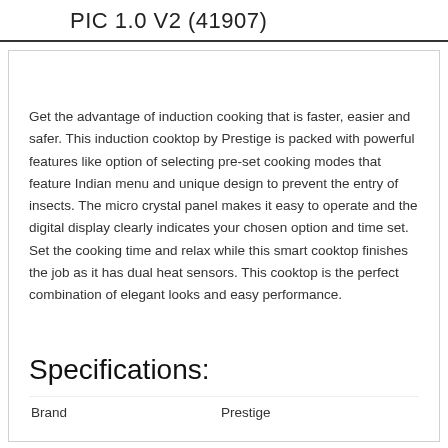PIC 1.0 V2 (41907)
Get the advantage of induction cooking that is faster, easier and safer. This induction cooktop by Prestige is packed with powerful features like option of selecting pre-set cooking modes that feature Indian menu and unique design to prevent the entry of insects. The micro crystal panel makes it easy to operate and the digital display clearly indicates your chosen option and time set. Set the cooking time and relax while this smart cooktop finishes the job as it has dual heat sensors. This cooktop is the perfect combination of elegant looks and easy performance.
Specifications:
| Brand | Prestige |
| --- | --- |
| Brand | Prestige |